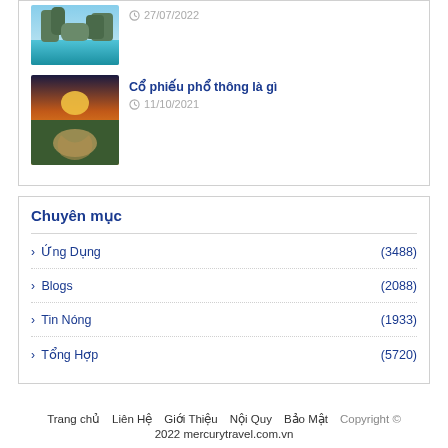[Figure (photo): Thumbnail photo of rocky island with turquoise water]
27/07/2022
Cổ phiếu phổ thông là gì
[Figure (photo): Thumbnail photo of river bend with sunset landscape]
11/10/2021
Chuyên mục
> Ứng Dụng (3488)
> Blogs (2088)
> Tin Nóng (1933)
> Tổng Hợp (5720)
Trang chủ  Liên Hệ  Giới Thiệu  Nội Quy  Bảo Mật  Copyright © 2022 mercurytravel.com.vn